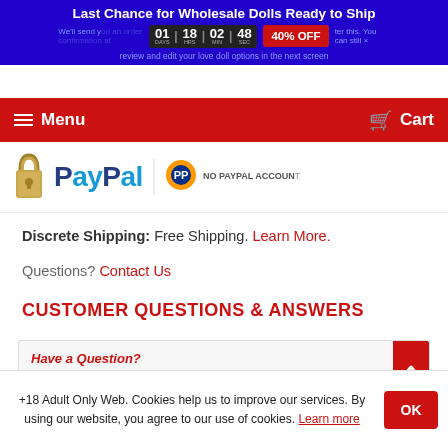Last Chance for Wholesale Dolls Ready to Ship
We'll send you an order confirmation after this. You can still review and edit your love doll options in the next screen
01 DAYS | 18 HRS | 02 MIN | 48 SEC   40% OFF
Menu   Cart
[Figure (other): PayPal payment logo with padlock and NO PAYPAL ACCOUNT text]
Discrete Shipping: Free Shipping. Learn More.
Questions? Contact Us
CUSTOMER QUESTIONS & ANSWERS
Have a Question?
+18 Adult Only Web. Cookies help us to improve our services. By using our website, you agree to our use of cookies. Learn more   OK